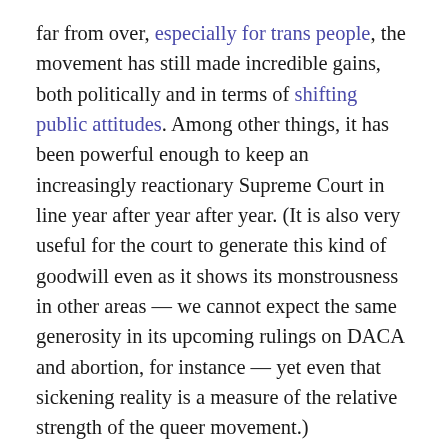far from over, especially for trans people, the movement has still made incredible gains, both politically and in terms of shifting public attitudes. Among other things, it has been powerful enough to keep an increasingly reactionary Supreme Court in line year after year after year. (It is also very useful for the court to generate this kind of goodwill even as it shows its monstrousness in other areas — we cannot expect the same generosity in its upcoming rulings on DACA and abortion, for instance — yet even that sickening reality is a measure of the relative strength of the queer movement.)
Some might object to this rather craven characterization of the court's motives, but it doesn't take a conspiracy theorist to understand that the work of the court is ultimately politics, not the law. The justices routinely toss their supposedly long-held